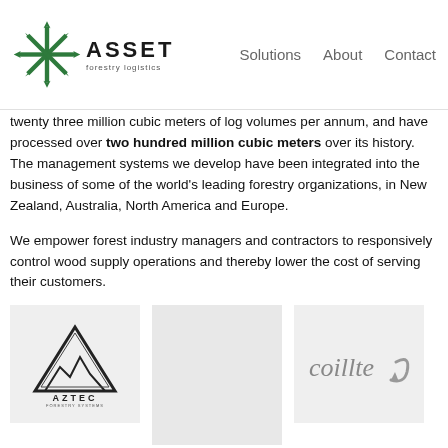Asset Forestry Logistics | Solutions | About | Contact
twenty three million cubic meters of log volumes per annum, and have processed over two hundred million cubic meters over its history. The management systems we develop have been integrated into the business of some of the world's leading forestry organizations, in New Zealand, Australia, North America and Europe.
We empower forest industry managers and contractors to responsively control wood supply operations and thereby lower the cost of serving their customers.
[Figure (logo): Aztec Forestry company logo — black triangle with mountain imagery and text AZTEC below]
[Figure (logo): Coillte company logo — stylized text 'coillte' with arrow/swish graphic in grey]
[Figure (logo): Partially visible third logo box in grey]